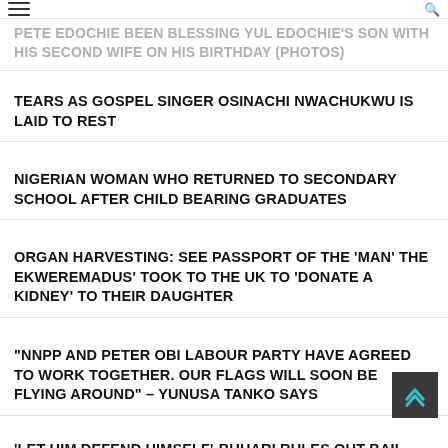PETE EDOCHIE BEEN BLESSING YUL EDOCHIE'S SON WITH HIS SECOND WIFE ON HIS BIRTHDAY (photos)
TEARS AS GOSPEL SINGER OSINACHI NWACHUKWU IS LAID TO REST
NIGERIAN WOMAN WHO RETURNED TO SECONDARY SCHOOL AFTER CHILD BEARING GRADUATES
ORGAN HARVESTING: SEE PASSPORT OF THE 'MAN' THE EKWEREMADUS' TOOK TO THE UK TO 'DONATE A KIDNEY' TO THEIR DAUGHTER
“NNPP AND PETER OBI LABOUR PARTY HAVE AGREED TO WORK TOGETHER. OUR FLAGS WILL SOON BE FLYING AROUND” – YUNUSA TANKO SAYS
‘LET HIM DEFEND HIMSELF’-BUHARI RULES OUT BAIL OPTION FOR NNAMDI KANU
7 AMAZING WAYS TO INCLUDE HONEY IN YOUR DAILY DIET